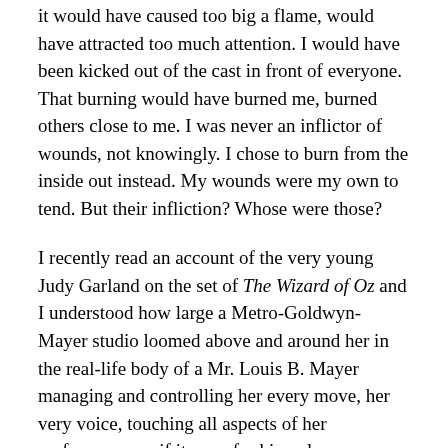it would have caused too big a flame, would have attracted too much attention. I would have been kicked out of the cast in front of everyone. That burning would have burned me, burned others close to me. I was never an inflictor of wounds, not knowingly. I chose to burn from the inside out instead. My wounds were my own to tend. But their infliction? Whose were those?
I recently read an account of the very young Judy Garland on the set of The Wizard of Oz and I understood how large a Metro-Goldwyn-Mayer studio loomed above and around her in the real-life body of a Mr. Louis B. Mayer managing and controlling her every move, her very voice, touching all aspects of her performance as if it were for him, alone.
Personal performance notes I took to heart: “No man, when he hath lighted a candle, putteth it in a secret place, neither under a bushel, but on a candlestick, that they